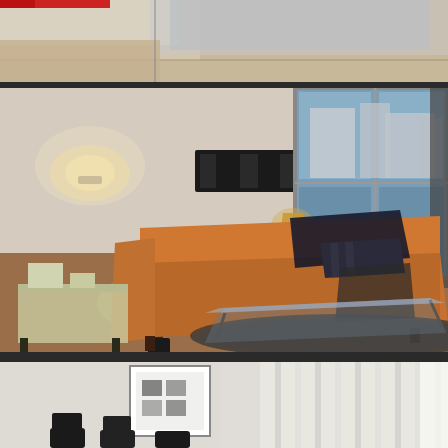[Figure (photo): Partial view of a room interior, cropped at top - showing ceiling/upper wall area with red accent, appears to be a kitchen or modern interior]
[Figure (photo): Living room interior with tan/orange leather sofa with dark decorative pillows, two table lamps, dark wall art piece, large window with view of buildings outside, glass coffee table, dark area rug on hardwood floor]
[Figure (photo): Dining area partially visible - white wall with framed artwork, vertical blind window covering, dark dining chairs visible at bottom of frame]